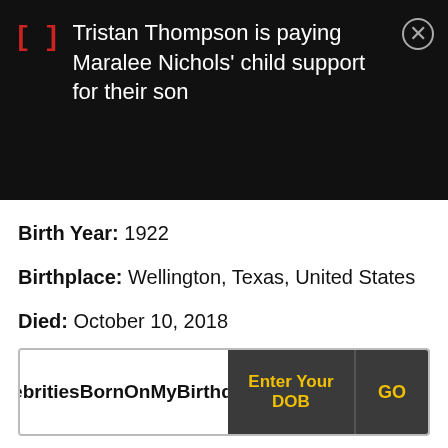[Figure (screenshot): Ad banner with dark background showing text: 'Tristan Thompson is paying Maralee Nichols' child support for their son' with a red bracket icon and close button]
Birth Year: 1922
Birthplace: Wellington, Texas, United States
Died: October 10, 2018
Celebrities Born On My Birthday? Enter Your DOB GO